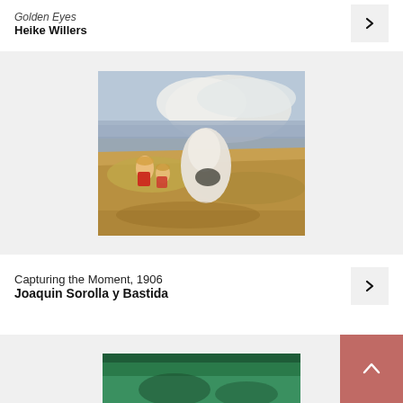Golden Eyes
Heike Willers
[Figure (photo): Painting of a beach scene with rocks, a figure in white dress and children with red clothing on sandy rocks, with blue sea and cloudy sky in background - Capturing the Moment, 1906 by Joaquin Sorolla y Bastida]
Capturing the Moment, 1906
Joaquin Sorolla y Bastida
[Figure (photo): Partial view of another painting preview at the bottom of the page, showing green tones]